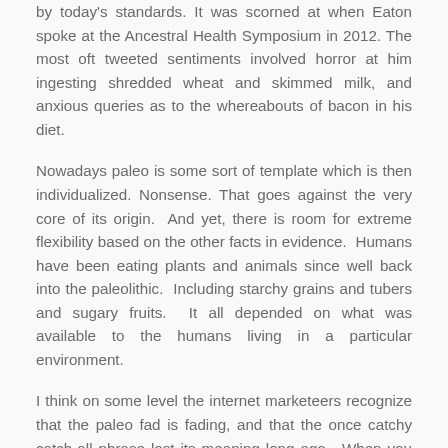by today's standards. It was scorned at when Eaton spoke at the Ancestral Health Symposium in 2012. The most oft tweeted sentiments involved horror at him ingesting shredded wheat and skimmed milk, and anxious queries as to the whereabouts of bacon in his diet.
Nowadays paleo is some sort of template which is then individualized. Nonsense. That goes against the very core of its origin. And yet, there is room for extreme flexibility based on the other facts in evidence. Humans have been eating plants and animals since well back into the paleolithic. Including starchy grains and tubers and sugary fruits. It all depended on what was available to the humans living in a particular environment.
I think on some level the internet marketeers recognize that the paleo fad is fading, and that the once catchy catch-all phrase lost its meaning long ago. When you cannot define a fad diet consistently, it cannot endure. The whole draw of fad diets is that they are simple formulas that promise results.